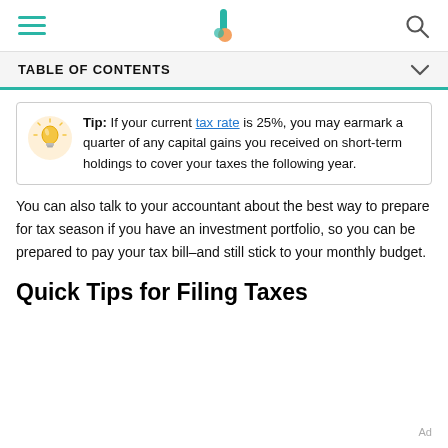TABLE OF CONTENTS
Tip: If your current tax rate is 25%, you may earmark a quarter of any capital gains you received on short-term holdings to cover your taxes the following year.
You can also talk to your accountant about the best way to prepare for tax season if you have an investment portfolio, so you can be prepared to pay your tax bill–and still stick to your monthly budget.
Quick Tips for Filing Taxes